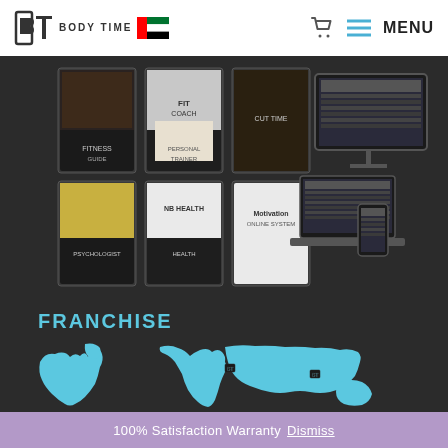[Figure (logo): Body Time logo with stylized B-T icon and UAE flag]
MENU
[Figure (photo): Six fitness product book/box covers arranged in a 2x3 grid on dark background, alongside a laptop/tablet/phone mockup showing a website]
FRANCHISE
[Figure (map): Light blue world map silhouette on dark background with Body Time franchise location markers]
100% Satisfaction Warranty Dismiss